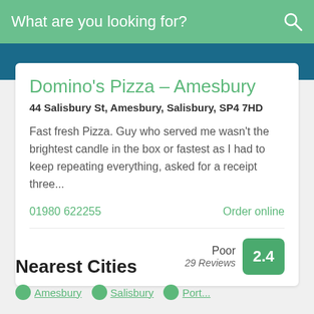What are you looking for?
Domino's Pizza – Amesbury
44 Salisbury St, Amesbury, Salisbury, SP4 7HD
Fast fresh Pizza. Guy who served me wasn't the brightest candle in the box or fastest as I had to keep repeating everything, asked for a receipt three...
01980 622255
Order online
Poor
29 Reviews
2.4
Nearest Cities